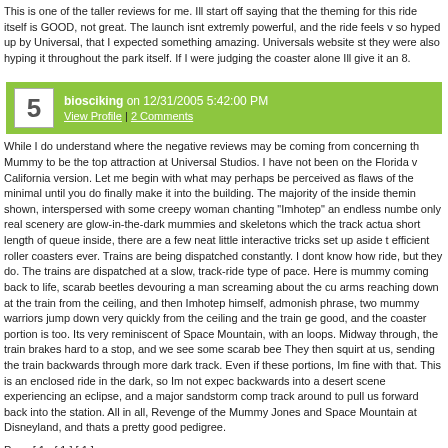This is one of the taller reviews for me. Ill start off saying that the theming for this ride itself is GOOD, not great. The launch isnt extremly powerful, and the ride feels so hyped up by Universal, that I expected something amazing. Universals website st they were also hyping it throughout the park itself. If I were judging the coaster alone Ill give it an 8.
biosciking on 12/31/2005 5:42:00 PM View Profile | 2 Comments
While I do understand where the negative reviews may be coming from concerning the Mummy to be the top attraction at Universal Studios. I have not been on the Florida v California version. Let me begin with what may perhaps be perceived as flaws of the minimal until you do finally make it into the building. The majority of the inside themin shown, interspersed with some creepy woman chanting "Imhotep" an endless numbe only real scenery are glow-in-the-dark mummies and skeletons which the track actua short length of queue inside, there are a few neat little interactive tricks set up aside t efficient roller coasters ever. Trains are being dispatched constantly. I dont know how ride, but they do. The trains are dispatched at a slow, track-ride type of pace. Here is mummy coming back to life, scarab beetles devouring a man screaming about the cu arms reaching down at the train from the ceiling, and then Imhotep himself, admonish phrase, two mummy warriors jump down very quickly from the ceiling and the train ge good, and the coaster portion is too. Its very reminiscent of Space Mountain, with an loops. Midway through, the train brakes hard to a stop, and we see some scarab bee They then squirt at us, sending the train backwards through more dark track. Even if these portions, Im fine with that. This is an enclosed ride in the dark, so Im not expec backwards into a desert scene experiencing an eclipse, and a major sandstorm comp track around to pull us forward back into the station. All in all, Revenge of the Mummy Jones and Space Mountain at Disneyland, and thats a pretty good pedigree.
Page [ 1 of 1 ] [ 1 ]